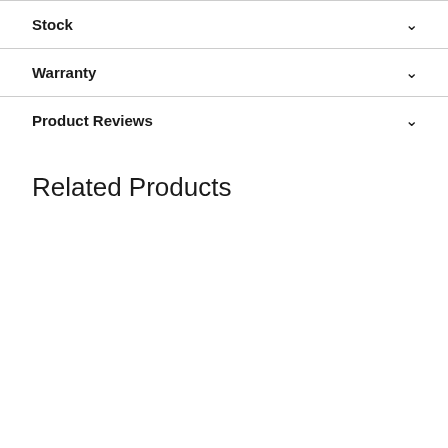Stock
Warranty
Product Reviews
Related Products